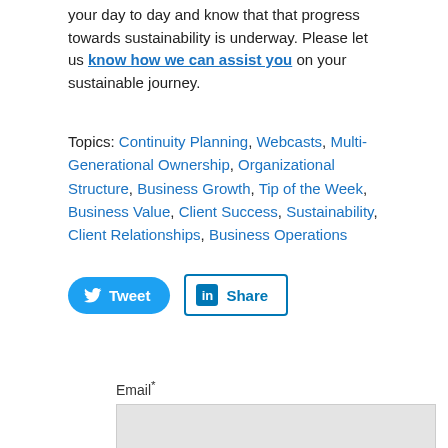your day to day and know that that progress towards sustainability is underway. Please let us know how we can assist you on your sustainable journey.
Topics: Continuity Planning, Webcasts, Multi-Generational Ownership, Organizational Structure, Business Growth, Tip of the Week, Business Value, Client Success, Sustainability, Client Relationships, Business Operations
[Figure (infographic): Tweet button and LinkedIn Share button side by side]
Email*
[Figure (screenshot): Email input field with light gray background]